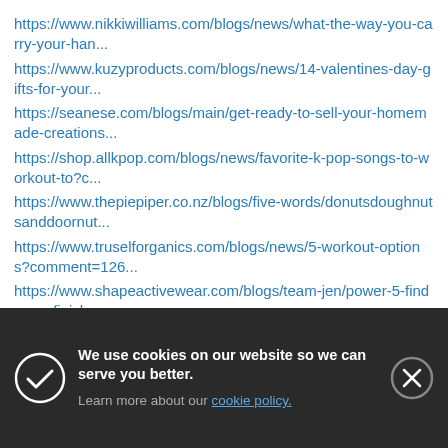https://www.nikkiwilliams.com/blogs/news/what-the-way-you-carry-your-han...
https://www.kuzyproducts.com/blogs/news/14-valentines-day-gifts-for-your...
https://seanese.com/blogs/main/get-ready-to-sell-your-homemade-creations...
https://shop.allkpop.com/blogs/news/favorite-k-pop-songs-to-workout-to?c...
https://www.thepiepiper.co.nz/blogs/five-words/donutsdoughnutsanddoornut...
https://www.truselforganics.com/blogs/news/5-workout-options?comment=126...
https://www.shapeactivewear.com/blogs/team-jen/power-5-find-your-finish-...
http...com...
http...
http...com...
https://shop.interiorstoinspire.com/blogs/how-to/use-
We use cookies on our website so we can serve you better. Learn more about our cookie policy.